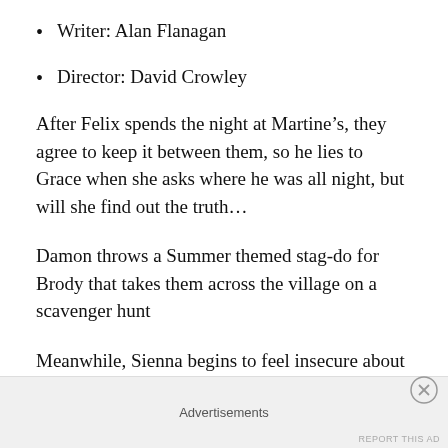Writer: Alan Flanagan
Director: David Crowley
After Felix spends the night at Martine’s, they agree to keep it between them, so he lies to Grace when she asks where he was all night, but will she find out the truth…
Damon throws a Summer themed stag-do for Brody that takes them across the village on a scavenger hunt
Meanwhile, Sienna begins to feel insecure about where she stands. The two women argue about the wedding and Summer confesses – without too many details –
Advertisements